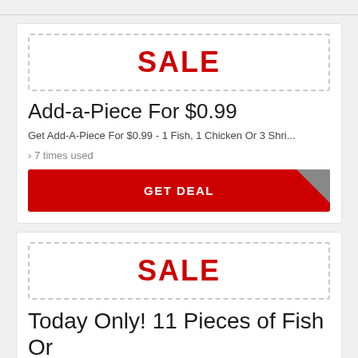[Figure (other): SALE label in dashed box for deal card 1]
Add-a-Piece For $0.99
Get Add-A-Piece For $0.99 - 1 Fish, 1 Chicken Or 3 Shri...
› 7 times used
GET DEAL
[Figure (other): SALE label in dashed box for deal card 2]
Today Only! 11 Pieces of Fish Or